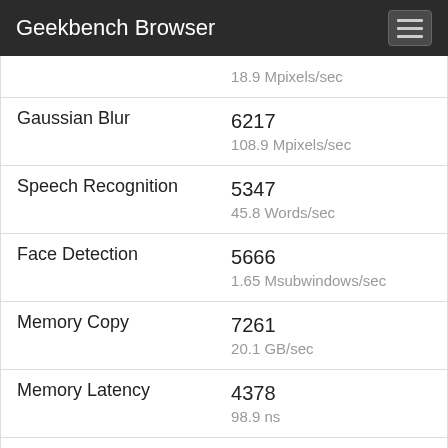Geekbench Browser
| Benchmark | Score / Unit |
| --- | --- |
|  | 18.9 Mpixels/sec |
| Gaussian Blur | 6217
108.9 Mpixels/sec |
| Speech Recognition | 5347
45.8 Words/sec |
| Face Detection | 5666
1.65 Msubwindows/sec |
| Memory Copy | 7261
20.1 GB/sec |
| Memory Latency | 4378
98.9 ns |
| Memory Bandwidth | 6359
34.0 GB/sec |
Multi-Core Performance
Multi-Core Score    10000+